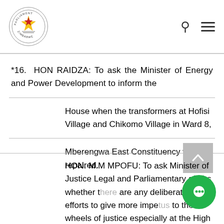Parliament of Zimbabwe
*16.  HON RAIDZA: To ask the Minister of Energy and Power Development to inform the
House when the transformers at Hofisi Village and Chikomo Village in Ward 8,
Mberengwa East Constituency will be repaired.
HON. M.M MPOFU: To ask Minister of Justice Legal and Parliamentary affairs whether there are any deliberate efforts to give more impetus to the wheels of justice especially at the High Court